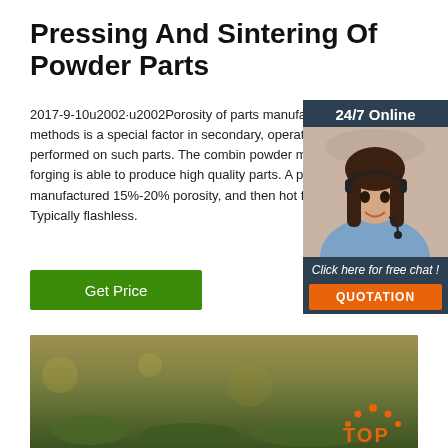Pressing And Sintering Of Powder Parts
2017-9-10u2002·u2002Porosity of parts manufactured by powder methods is a special factor in secondary, operations performed on such parts. The combination of powder metallurgy and forging is able to produce high quality parts. A part is powder manufactured 15%-20% porosity, and then hot forged. Typically flashless.
[Figure (other): Get Price green button]
[Figure (photo): Sidebar widget showing a woman with headset and 24/7 Online chat support, with Click here for free chat and QUOTATION button]
[Figure (photo): Bottom photo of green grass/field background with orange TOP logo in bottom right corner]